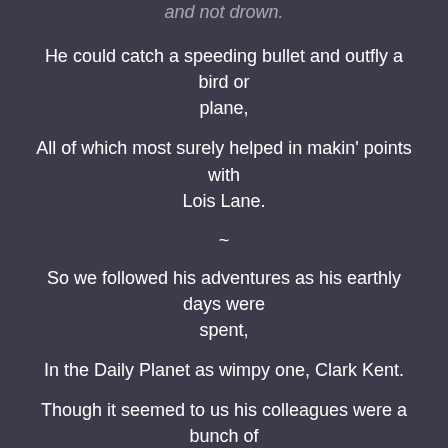and not drown.
He could catch a speeding bullet and outfly a bird or plane,
All of which most surely helped in makin' points with Lois Lane.
~
So we followed his adventures as his earthly days were spent,
In the Daily Planet as wimpy one, Clark Kent.
Though it seemed to us his colleagues were a bunch of asses
Not to recognize the Man of Steel behind those glasses.